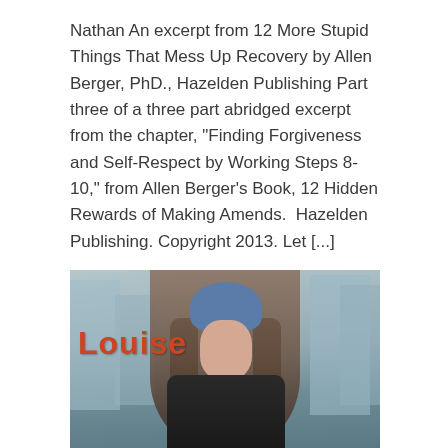Nathan An excerpt from 12 More Stupid Things That Mess Up Recovery by Allen Berger, PhD., Hazelden Publishing Part three of a three part abridged excerpt from the chapter, "Finding Forgiveness and Self-Respect by Working Steps 8-10," from Allen Berger's Book, 12 Hidden Rewards of Making Amends.  Hazelden Publishing. Copyright 2013. Let [...]
[Figure (photo): A young woman with long dark hair wearing a blue knit beanie hat, eyes closed, in front of a blurred urban cityscape background. The word 'Louise' appears in bold red/orange text on the left side of the image.]